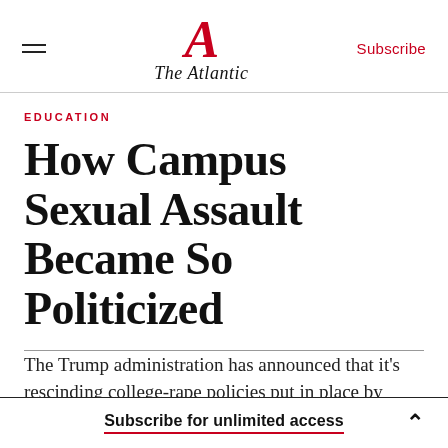The Atlantic — Subscribe
EDUCATION
How Campus Sexual Assault Became So Politicized
The Trump administration has announced that it's rescinding college-rape policies put in place by
Subscribe for unlimited access